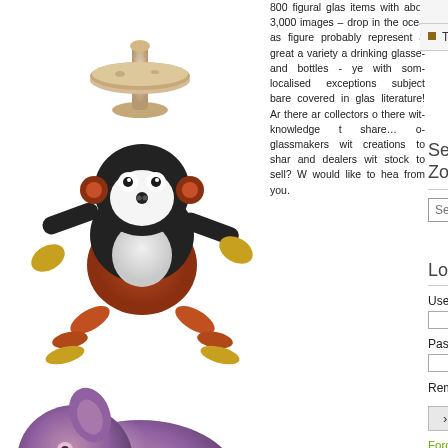[Figure (photo): Glass figurine on a pedestal/mushroom base, cream/beige colored]
[Figure (photo): Glass figurine of a monkey/frog in orange, black, and white colors in a crouching pose]
[Figure (photo): Glass or ceramic pig figurine in purple/mauve color]
800 figural glass items with about 3,000 images – a drop in the ocean as figures probably represent as great a variety as drinking glasses and bottles - yet with some localised exceptions a subject barely covered in glass literature! Are there any collectors out there with knowledge to share… or glassmakers with creations to share and dealers with stock to sell? We would like to hear from you. This site is about
Articles
The Glass Zoo
Search in Zoo
Search...
Login
User Name
Password
Remember Me
›Log in
Forgot your password? Forgot your